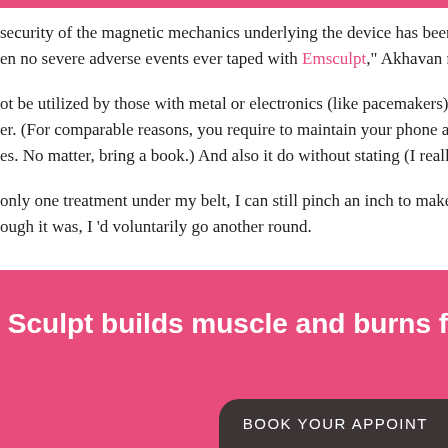security of the magnetic mechanics underlying the device has been su een no severe adverse events ever taped with Emsculpt," Akhavan note
ot be utilized by those with metal or electronics (like pacemakers) insi er. (For comparable reasons, you require to maintain your phone a ri es. No matter, bring a book.) And also it do without stating (I really ho
only one treatment under my belt, I can still pinch an inch to make su ough it was, I 'd voluntarily go another round.
Sculpt builds muscle and burns fat
BOOK YOUR APPOINT